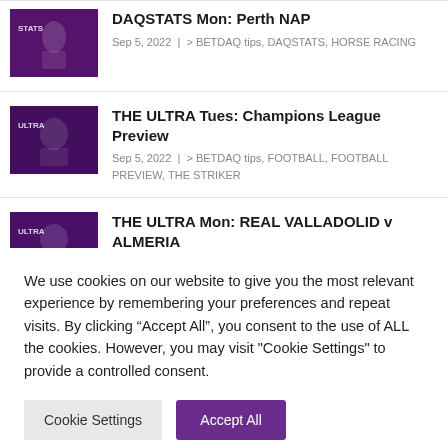DAQSTATS Mon: Perth NAP
Sep 5, 2022 | > BETDAQ tips, DAQSTATS, HORSE RACING
THE ULTRA Tues: Champions League Preview
Sep 5, 2022 | > BETDAQ tips, FOOTBALL, FOOTBALL PREVIEW, THE STRIKER
THE ULTRA Mon: REAL VALLADOLID v ALMERIA
Sep 5, 2022 | > BETDAQ tips, FOOTBALL, FOOTBALL PREVIEW, THE ULTRA
We use cookies on our website to give you the most relevant experience by remembering your preferences and repeat visits. By clicking “Accept All”, you consent to the use of ALL the cookies. However, you may visit "Cookie Settings" to provide a controlled consent.